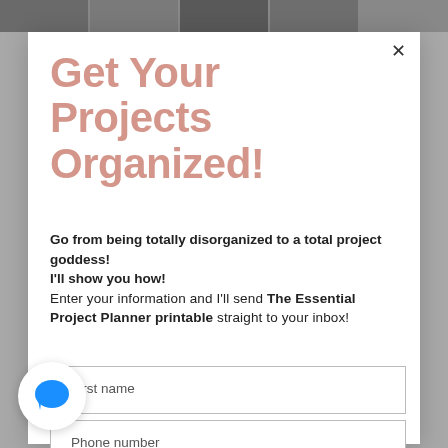[Figure (screenshot): Gray photo strip at top with partial grayscale photos]
Get Your Projects Organized!
Go from being totally disorganized to a total project goddess!
I'll show you how!
Enter your information and I'll send The Essential Project Planner printable straight to your inbox!
[Figure (other): First name input field]
[Figure (other): Phone number input field]
[Figure (other): Blue chat bubble icon overlay at bottom left]